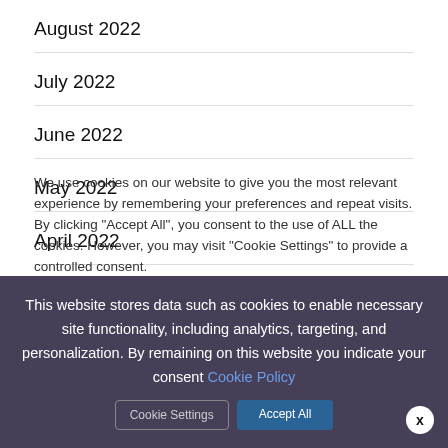August 2022
July 2022
June 2022
May 2022
April 2022
We use cookies on our website to give you the most relevant experience by remembering your preferences and repeat visits. By clicking "Accept All", you consent to the use of ALL the cookies. However, you may visit "Cookie Settings" to provide a controlled consent.
This website stores data such as cookies to enable necessary site functionality, including analytics, targeting, and personalization. By remaining on this website you indicate your consent Cookie Policy